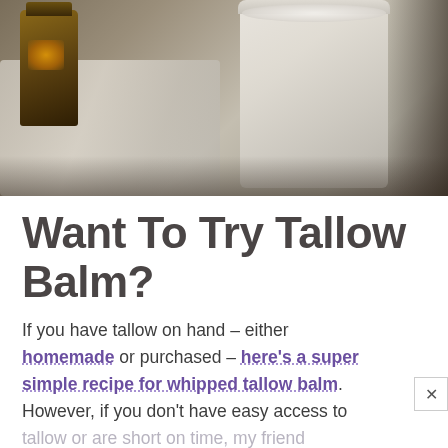[Figure (photo): Photo of a glass jar containing white/cream tallow balm and a dark amber glass bottle, placed on crinkled paper or plastic wrapping on a wooden surface. Dark, moody photography style.]
Want To Try Tallow Balm?
If you have tallow on hand – either homemade or purchased – here's a super simple recipe for whipped tallow balm. However, if you don't have easy access to tallow or are short on time, my friend